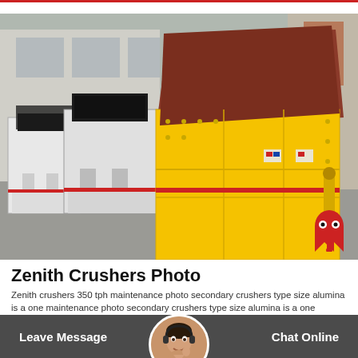[Figure (photo): Industrial impact crushers in a yard — one large yellow crusher in the foreground and two white/grey crushers in the background, with a warehouse building visible behind them.]
Zenith Crushers Photo
Zenith crushers 350 tph maintenance photo secondary crushers type size alumina is a one maintenance photo secondary crushers type size alumina is a one
Leave Message  Chat Online